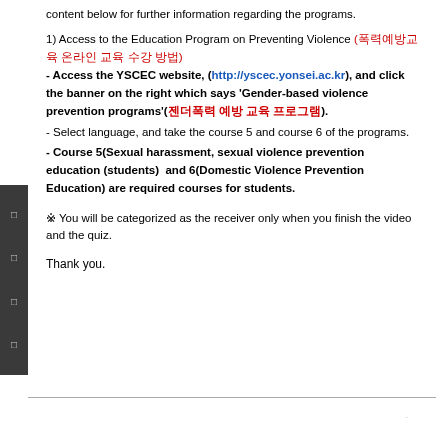content below for further information regarding the programs.
1) Access to the Education Program on Preventing Violence (폭력예방교육 온라인 교육 수강 방법) - Access the YSCEC website, (http://yscec.yonsei.ac.kr), and click the banner on the right which says 'Gender-based violence prevention programs'(젠더폭력 예방 교육 프로그램).
- Select language, and take the course 5 and course 6 of the programs.
- Course 5(Sexual harassment, sexual violence prevention education (students) and 6(Domestic Violence Prevention Education) are required courses for students.
※ You will be categorized as the receiver only when you finish the video and the quiz.
Thank you.